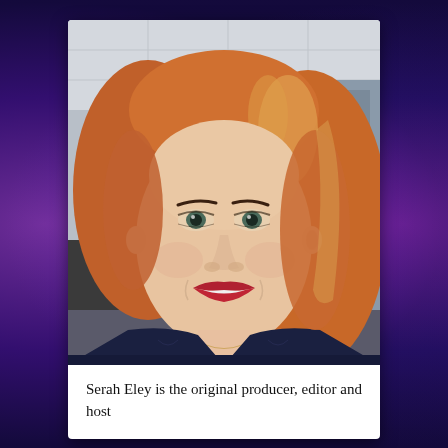[Figure (photo): A selfie-style photo of a woman with red/auburn shoulder-length hair and red lipstick, wearing a dark navy top, smiling at the camera. She is in an office or indoor environment with a drop ceiling visible in the background.]
Serah Eley is the original producer, editor and host